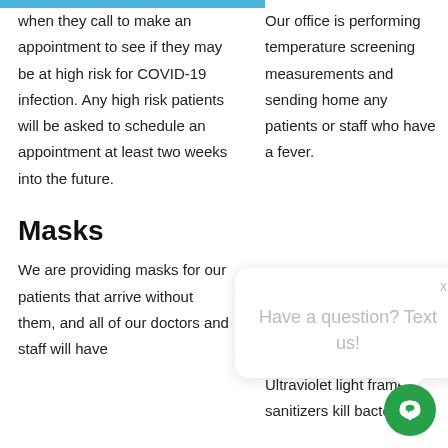when they call to make an appointment to see if they may be at high risk for COVID-19 infection. Any high risk patients will be asked to schedule an appointment at least two weeks into the future.
Our office is performing temperature screening measurements and sending home any patients or staff who have a fever.
Masks
We are providing masks for our patients that arrive without them, and all of our doctors and staff will have
several times a day. Ultraviolet light frame sanitizers kill bacteria a...
[Figure (screenshot): Chat popup overlay with text 'Have a question? Text us!' and a green chat button in the lower right corner.]